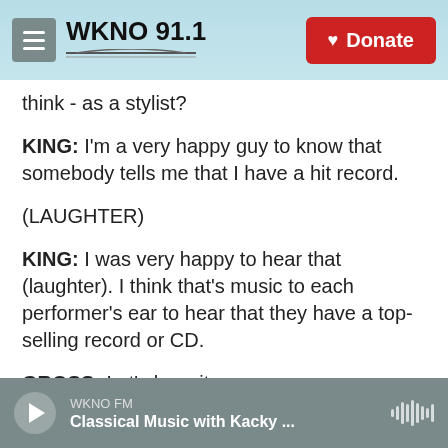WKNO 91.1 | Donate
think - as a stylist?
KING: I'm a very happy guy to know that somebody tells me that I have a hit record.
(LAUGHTER)
KING: I was very happy to hear that (laughter). I think that's music to each performer's ear to hear that they have a top-selling record or CD.
GROSS: Let's hear it.
(SOUNDBITE OF SONG, "THREE O'CLOCK BLUES")
WKNO FM | Classical Music with Kacky ...